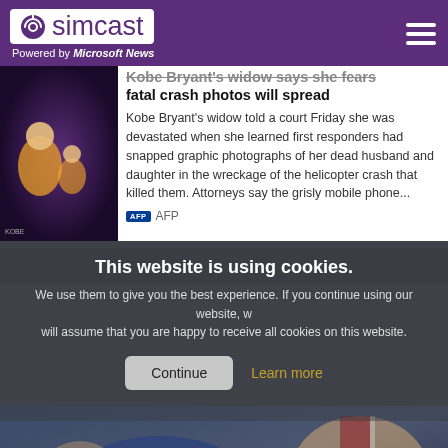simcast — Powered by Microsoft News
Kobe Bryant's widow says she fears fatal crash photos will spread
Kobe Bryant's widow told a court Friday she was devastated when she learned first responders had snapped graphic photographs of her dead husband and daughter in the wreckage of the helicopter crash that killed them. Attorneys say the grisly mobile phone...
AFP
This website is using cookies. We use them to give you the best experience. If you continue using our website, we will assume that you are happy to receive all cookies on this website.
[Figure (photo): Photo of Biden at bottom of page]